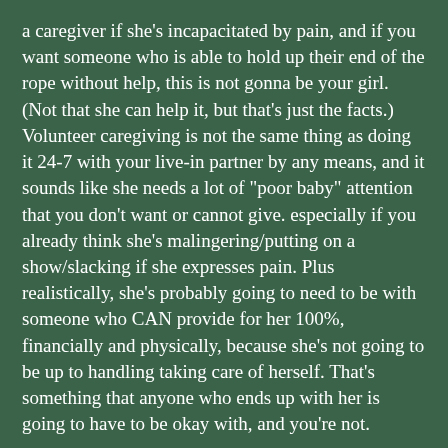a caregiver if she's incapacitated by pain, and if you want someone who is able to hold up their end of the rope without help, this is not gonna be your girl. (Not that she can help it, but that's just the facts.) Volunteer caregiving is not the same thing as doing it 24-7 with your live-in partner by any means, and it sounds like she needs a lot of "poor baby" attention that you don't want or cannot give. especially if you already think she's malingering/putting on a show/slacking if she expresses pain. Plus realistically, she's probably going to need to be with someone who CAN provide for her 100%, financially and physically, because she's not going to be up to handling taking care of herself. That's something that anyone who ends up with her is going to have to be okay with, and you're not.
Speaking as someone else who is not a born caregiver... I can't tell you that you'll ever get over feeling like an asshole for essentially breaking up with her because of her disability. But i can't tell you you'll feel better than the one who...